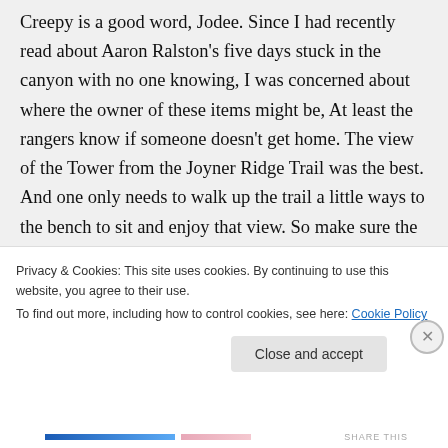Creepy is a good word, Jodee. Since I had recently read about Aaron Ralston's five days stuck in the canyon with no one knowing, I was concerned about where the owner of these items might be, At least the rangers know if someone doesn't get home. The view of the Tower from the Joyner Ridge Trail was the best. And one only needs to walk up the trail a little ways to the bench to sit and enjoy that view. So make sure the three of you make the short
Privacy & Cookies: This site uses cookies. By continuing to use this website, you agree to their use.
To find out more, including how to control cookies, see here: Cookie Policy
Close and accept